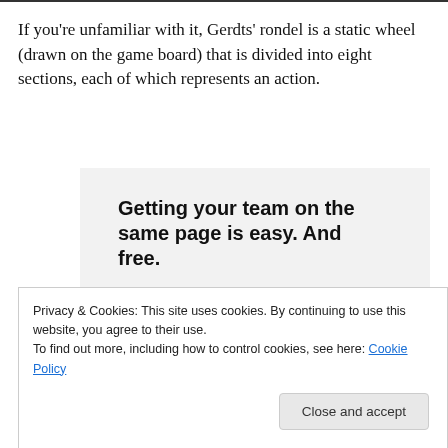If you're unfamiliar with it, Gerdts' rondel is a static wheel (drawn on the game board) that is divided into eight sections, each of which represents an action.
[Figure (screenshot): Advertisement screenshot showing bold text 'Getting your team on the same page is easy. And free.' on a light grey background with circular avatar photos along the bottom.]
Privacy & Cookies: This site uses cookies. By continuing to use this website, you agree to their use.
To find out more, including how to control cookies, see here: Cookie Policy